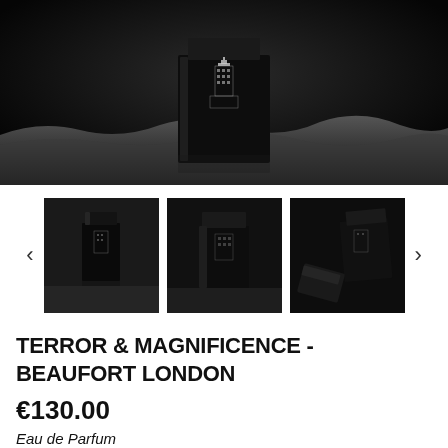[Figure (photo): Black and white dramatic product photo of a dark perfume bottle with a building/tower illustration on it, placed on a rocky or wavy surface against a dark background.]
[Figure (photo): Three thumbnail images of the perfume bottle: first shows the bottle standing alone, second shows the bottle at an angle, third shows the bottle and cap side by side.]
TERROR & MAGNIFICENCE - BEAUFORT LONDON
€130.00
Eau de Parfum